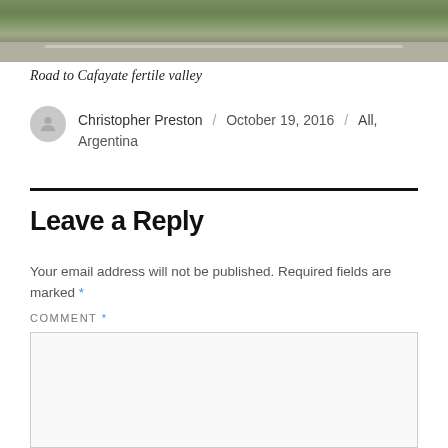[Figure (photo): Partial photo of road to Cafayate fertile valley — road with grass and terrain visible]
Road to Cafayate fertile valley
Christopher Preston / October 19, 2016 / All, Argentina
Leave a Reply
Your email address will not be published. Required fields are marked *
COMMENT *